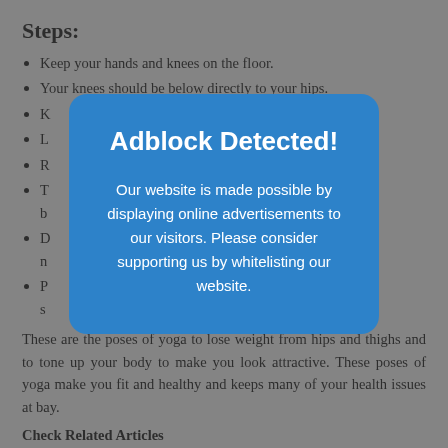Steps:
Keep your hands and knees on the floor.
Your knees should be below directly to your hips.
[partially obscured]
[partially obscured]
[partially obscured]
[partially obscured] your [obscured]
[partially obscured] do n[obscured]
[partially obscured] ake s[obscured]
[Figure (screenshot): Adblock Detected modal overlay with blue background. Title: 'Adblock Detected!' Body text: 'Our website is made possible by displaying online advertisements to our visitors. Please consider supporting us by whitelisting our website.']
These are the poses of yoga to lose weight from hips and thighs and to tone up your body to make you look attractive. These poses of yoga make you fit and healthy and keeps many of your health issues at bay.
Check Related Articles